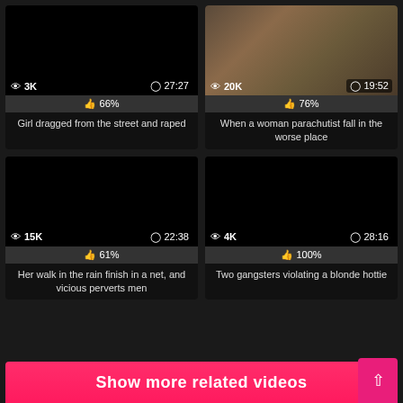[Figure (screenshot): Video thumbnail - black screen with eye icon showing 3K views and duration 27:27]
66%
Girl dragged from the street and raped
[Figure (photo): Video thumbnail showing crowd scene with woman, 20K views, duration 19:52]
76%
When a woman parachutist fall in the worse place
[Figure (screenshot): Video thumbnail - black screen with eye icon showing 15K views and duration 22:38]
61%
Her walk in the rain finish in a net, and vicious perverts men
[Figure (screenshot): Video thumbnail - black screen with eye icon showing 4K views and duration 28:16]
100%
Two gangsters violating a blonde hottie
Show more related videos